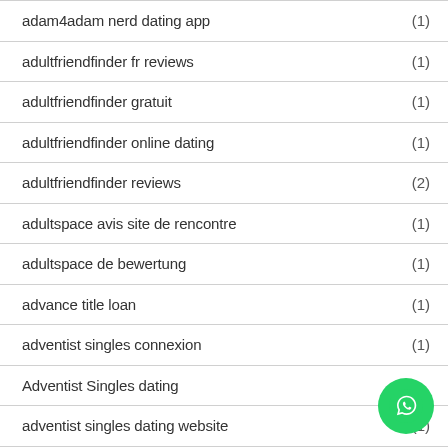adam4adam nerd dating app (1)
adultfriendfinder fr reviews (1)
adultfriendfinder gratuit (1)
adultfriendfinder online dating (1)
adultfriendfinder reviews (2)
adultspace avis site de rencontre (1)
adultspace de bewertung (1)
advance title loan (1)
adventist singles connexion (1)
Adventist Singles dating
adventist singles dating website (1)